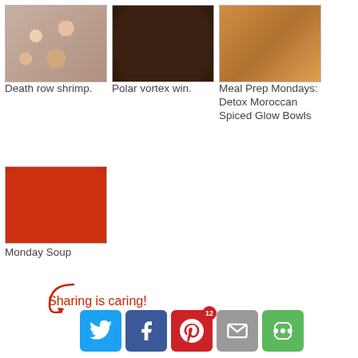[Figure (photo): Food photo: Death row shrimp dish]
Death row shrimp.
[Figure (photo): Food photo: Polar vortex win soup]
Polar vortex win.
[Figure (photo): Food photo: Meal Prep Mondays Detox Moroccan Spiced Glow Bowls]
Meal Prep Mondays: Detox Moroccan Spiced Glow Bowls
[Figure (photo): Food photo: Monday Soup]
Monday Soup
Sharing is caring!